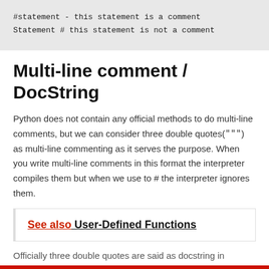#statement - this statement is a comment
Statement # this statement is not a comment
Multi-line comment / DocString
Python does not contain any official methods to do multi-line comments, but we can consider three double quotes(""") as multi-line commenting as it serves the purpose. When you write multi-line comments in this format the interpreter compiles them but when we use to # the interpreter ignores them.
See also  User-Defined Functions
Officially three double quotes are said as docstring in python. We